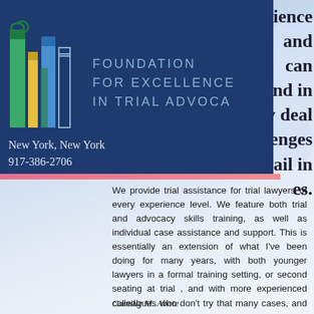[Figure (logo): Foundation for Excellence in Trial Advocacy logo — blue rectangle background with colorful column/pillar icon on left and text 'FOUNDATION FOR EXCELLENCE IN TRIAL ADVOCACY' in spaced caps, with address 'New York, New York' and '917-386-2706' below]
rience and can nd in y deal lenges vail in es.
We provide trial assistance for trial lawyers of every experience level. We feature both trial and advocacy skills training, as well as individual case assistance and support. This is essentially an extension of what I've been doing for many years, with both younger lawyers in a formal training setting, or second seating at trial , and with more experienced colleagues who don't try that many cases, and who often reach out informally for my assistance.
Camille M. Abate